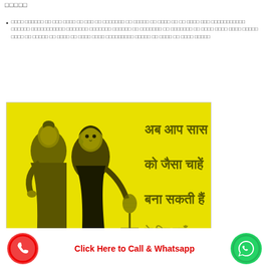□□□□□
□□□□ □□□□□□ □□ □□□ □□□□ □□ □□□ □□ □□□□□□□ □□ □□□□□ □□ □□□□ □□ □□ □□□□ □□□ □□□□□□□□□□□ □□□□□□ □□□□□□□□□□□ □□□□□□□ □□□□□□□ □□□□□□ □□ □□□□□□□ □□ □□□□□□□ □□ □□□□ □□□□ □□□□ □□□□□ □□□□ □□ □□□□□ □□ □□□□ □□ □□□□ □□□□ □□□□□□□□□ □□□□□ □□ □□□□ □□ □□□□ □□□□□
[Figure (illustration): Yellow background illustration with two women (older and younger in Indian attire) and Hindi text reading: अब आप सास को जैसा चाहें बना सकती हैं]
Click Here to Call & Whatsapp